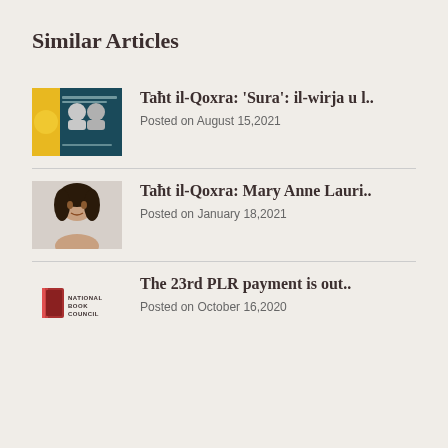Similar Articles
[Figure (photo): Thumbnail image for article about Taħt il-Qoxra: 'Sura' - teal background with yellow circle and people's photos]
Taħt il-Qoxra: 'Sura': il-wirja u l..
Posted on August 15,2021
[Figure (photo): Thumbnail portrait photo of a woman with dark hair]
Taħt il-Qoxra: Mary Anne Lauri..
Posted on January 18,2021
[Figure (logo): National Book Council logo - red book icon with text 'National Book Council']
The 23rd PLR payment is out..
Posted on October 16,2020